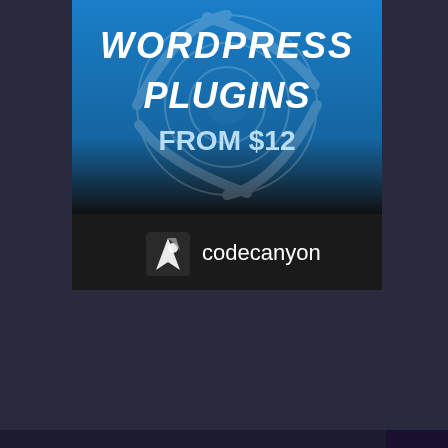[Figure (screenshot): CodeCanyon WordPress Plugins From $12 advertisement banner with blue background and WordPress swirl logo, codecanyon eagle logo at bottom]
[Figure (screenshot): Social sharing bar with Facebook Like button (0 likes), Facebook share (0), Twitter share (0), Pinterest share (12), Email, Print, Messenger buttons. Shows '12 Shares' count.]
CHEAP HOSTING
[Figure (screenshot): HostGator advertisement: HOSTGATOR.COM 1-866-96-HOSTGATOR, UNLIMITED SPACE, GET STARTED FOR ONLY 1 PENNY, with HostGator gator mascot on yellow and blue background]